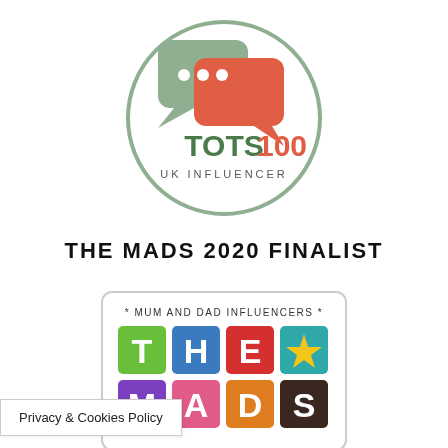[Figure (logo): Tots100 UK Influencer logo: circular border in sage green, two overlapping speech bubbles (sage green and coral/orange-red) with three dots, text TOTS100 in dark green and orange-red, below UK INFLUENCER in small caps]
THE MADS 2020 FINALIST
[Figure (logo): The MADs (Mum and Dad Influencers) award badge: white rounded rectangle border, handwritten text '* MUM AND DAD INFLUENCERS *', colorful block letters T H E (green, blue, red squares with white letters) and a gold star on teal square, then M A D S (purple, pink, orange, dark brown squares with white letters), and partially visible bottom row]
Privacy & Cookies Policy